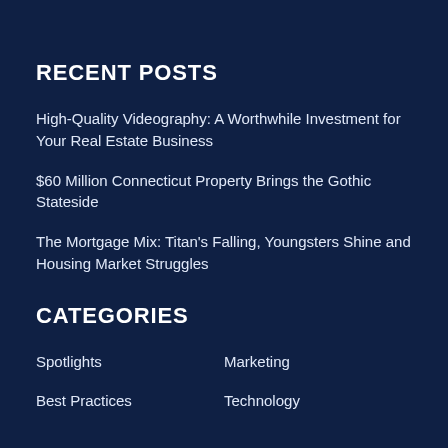RECENT POSTS
High-Quality Videography: A Worthwhile Investment for Your Real Estate Business
$60 Million Connecticut Property Brings the Gothic Stateside
The Mortgage Mix: Titan's Falling, Youngsters Shine and Housing Market Struggles
CATEGORIES
Spotlights
Marketing
Best Practices
Technology